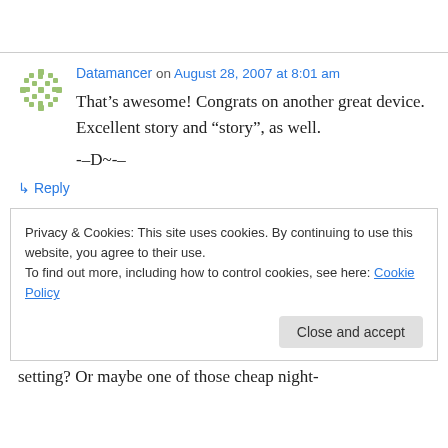Datamancer on August 28, 2007 at 8:01 am
That’s awesome! Congrats on another great device. Excellent story and “story”, as well.

--D~--
↳ Reply
Privacy & Cookies: This site uses cookies. By continuing to use this website, you agree to their use.
To find out more, including how to control cookies, see here: Cookie Policy
Close and accept
setting? Or maybe one of those cheap night-